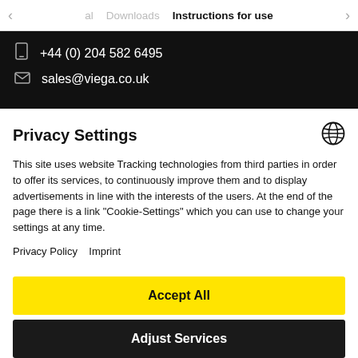< al   Downloads   Instructions for use   >
+44 (0) 204 582 6495
sales@viega.co.uk
Privacy Settings
This site uses website Tracking technologies from third parties in order to offer its services, to continuously improve them and to display advertisements in line with the interests of the users. At the end of the page there is a link "Cookie-Settings" which you can use to change your settings at any time.
Privacy Policy   Imprint
Accept All
Adjust Services